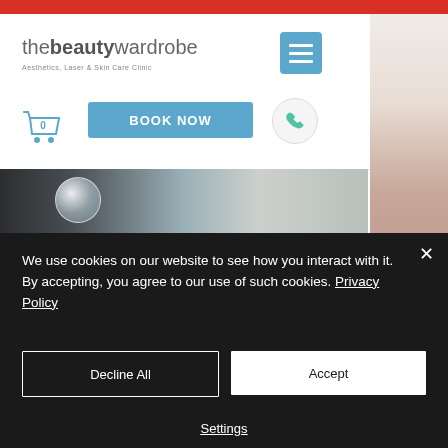[Figure (screenshot): Website screenshot of 'The Beauty Wardrobe - Aesthetics, Laser & Skin Care Clinic' showing navigation bar with logo, hamburger menu, Book Now button, cart icon, phone icon, and two image strips of a beauty/skincare clinic]
We use cookies on our website to see how you interact with it. By accepting, you agree to our use of such cookies. Privacy Policy
Decline All
Accept
Settings